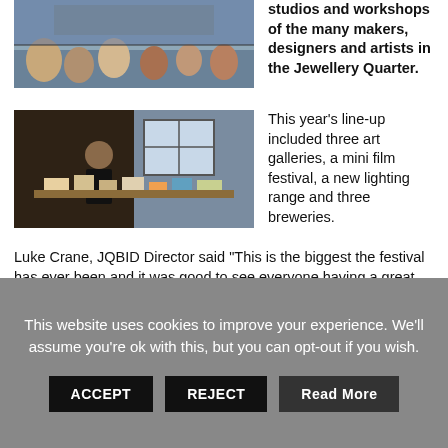[Figure (photo): Crowd of people seated outdoors at an event, viewed from behind]
studios and workshops of the many makers, designers and artists in the Jewellery Quarter.
[Figure (photo): Woman standing behind a display table with books and products at a market or festival stall]
This year's line-up included three art galleries, a mini film festival, a new lighting range and three breweries.
Luke Crane, JQBID Director said “This is the biggest the festival has ever been and it was good to see everyone having a great time.
Over the weekend, visitors arrived from further afield to see what the Quarter has to offer and experience why it is
This website uses cookies to improve your experience. We'll assume you're ok with this, but you can opt-out if you wish.